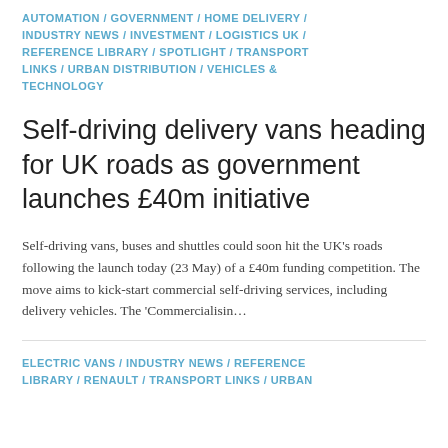AUTOMATION / GOVERNMENT / HOME DELIVERY / INDUSTRY NEWS / INVESTMENT / LOGISTICS UK / REFERENCE LIBRARY / SPOTLIGHT / TRANSPORT LINKS / URBAN DISTRIBUTION / VEHICLES & TECHNOLOGY
Self-driving delivery vans heading for UK roads as government launches £40m initiative
Self-driving vans, buses and shuttles could soon hit the UK's roads following the launch today (23 May) of a £40m funding competition. The move aims to kick-start commercial self-driving services, including delivery vehicles. The 'Commercialisin...
ELECTRIC VANS / INDUSTRY NEWS / REFERENCE LIBRARY / RENAULT / TRANSPORT LINKS / URBAN